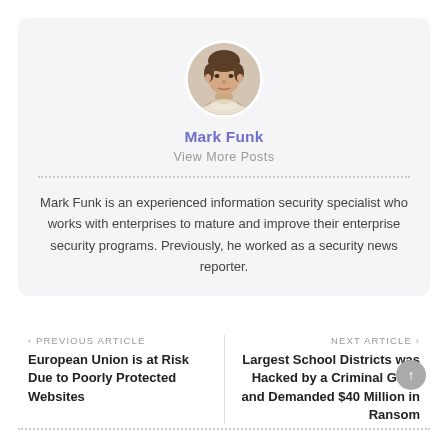[Figure (photo): Circular avatar photo of Mark Funk, a man with short dark hair wearing a light-colored shirt]
Mark Funk
View More Posts
Mark Funk is an experienced information security specialist who works with enterprises to mature and improve their enterprise security programs. Previously, he worked as a security news reporter.
PREVIOUS ARTICLE
European Union is at Risk Due to Poorly Protected Websites
NEXT ARTICLE
Largest School Districts was Hacked by a Criminal Gang and Demanded $40 Million in Ransom